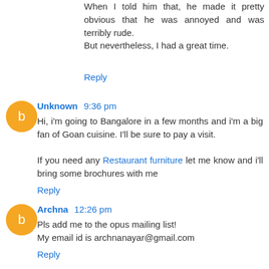When I told him that, he made it pretty obvious that he was annoyed and was terribly rude.
But nevertheless, I had a great time.
Reply
Unknown 9:36 pm
Hi, i'm going to Bangalore in a few months and i'm a big fan of Goan cuisine. I'll be sure to pay a visit.

If you need any Restaurant furniture let me know and i'll bring some brochures with me
Reply
Archna 12:26 pm
Pls add me to the opus mailing list!
My email id is archnanayar@gmail.com
Reply